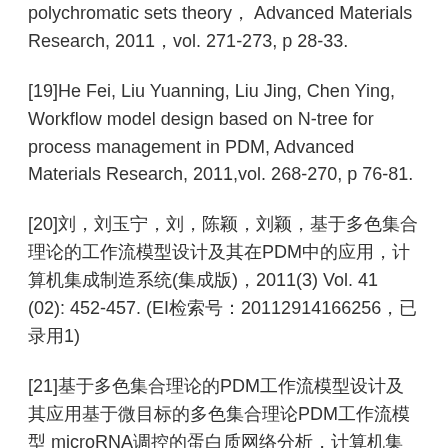polychromatic sets theory， Advanced Materials Research, 2011，vol. 271-273, p 28-33.
[19]He Fei, Liu Yuanning, Liu Jing, Chen Ying, Workflow model design based on N-tree for process management in PDM, Advanced Materials Research, 2011,vol. 268-270, p 76-81.
[20]刘，刘玉宁，刘，陈颖，刘颖，基于多色集合理论的工作流模型设计及其在PDM中的应用，计算机集成制造系统(集成版)，2011(3) Vol. 41 (02): 452-457. (EI检索号：20112914166256，已录用1)
[21]基于多色集合理论的PDM工作流模型设计及其应用基于微目标的多色集合理论PDM工作流模型 microRNA调控的蛋白质网络分析，计算机集成制造系统(集成版)， 2011(11) Vol.